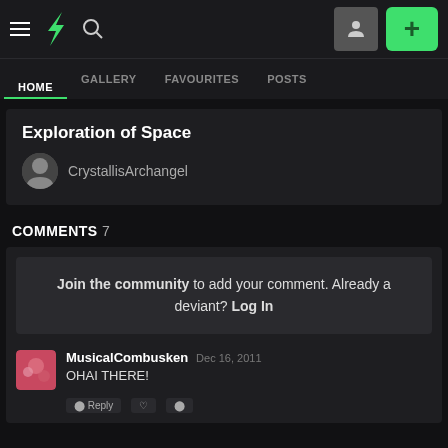DeviantArt navigation bar with hamburger menu, DA logo, search icon, user icon button, and + button
HOME | GALLERY | FAVOURITES | POSTS
Exploration of Space
CrystallisArchangel
COMMENTS 7
Join the community to add your comment. Already a deviant? Log In
MusicalCombusken  Dec 16, 2011
OHAI THERE!